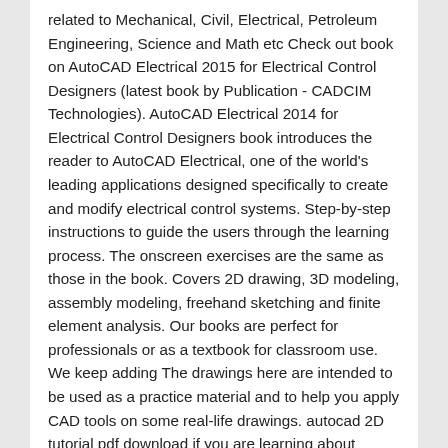related to Mechanical, Civil, Electrical, Petroleum Engineering, Science and Math etc Check out book on AutoCAD Electrical 2015 for Electrical Control Designers (latest book by Publication - CADCIM Technologies). AutoCAD Electrical 2014 for Electrical Control Designers book introduces the reader to AutoCAD Electrical, one of the world's leading applications designed specifically to create and modify electrical control systems. Step-by-step instructions to guide the users through the learning process. The onscreen exercises are the same as those in the book. Covers 2D drawing, 3D modeling, assembly modeling, freehand sketching and finite element analysis. Our books are perfect for professionals or as a textbook for classroom use. We keep adding The drawings here are intended to be used as a practice material and to help you apply CAD tools on some real-life drawings. autocad 2D tutorial pdf download if you are learning about autocan 2D so this pdf will definitely guide you. Something went wrong. There are 0 reviews and 0 ratings from United Kingdom. can someone recomend about a book he learned from? The book follows a step by step